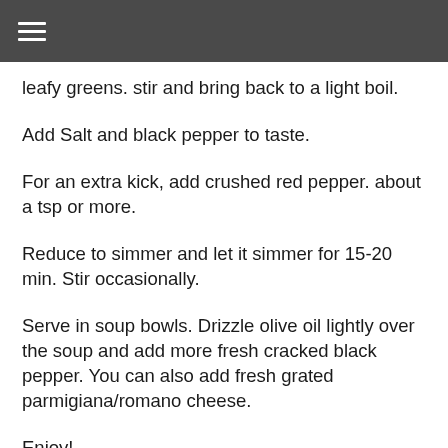≡
leafy greens. stir and bring back to a light boil.
Add Salt and black pepper to taste.
For an extra kick, add crushed red pepper. about a tsp or more.
Reduce to simmer and let it simmer for 15-20 min. Stir occasionally.
Serve in soup bowls. Drizzle olive oil lightly over the soup and add more fresh cracked black pepper. You can also add fresh grated parmigiana/romano cheese.
Enjoy!